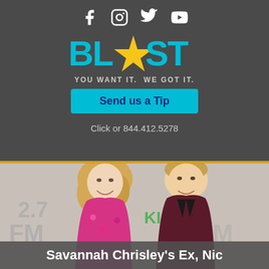[Figure (logo): Social media icons: Facebook, Instagram, Twitter, YouTube in white on dark gray background]
[Figure (logo): BLAST logo - blue and yellow star logo with text 'BL*ST' and tagline 'YOU WANT IT. WE GOT IT.']
Send us a Tip
Click or 844.412.5278
[Figure (photo): Photo of Savannah Chrisley and a man smiling at an event in front of a KISS FM photo backdrop. Savannah has blonde wavy hair and wears a pink floral top. The man wears a dark maroon blazer.]
Savannah Chrisley's Ex, Nic